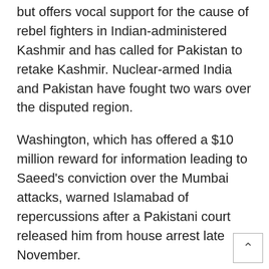but offers vocal support for the cause of rebel fighters in Indian-administered Kashmir and has called for Pakistan to retake Kashmir. Nuclear-armed India and Pakistan have fought two wars over the disputed region.
Washington, which has offered a $10 million reward for information leading to Saeed's conviction over the Mumbai attacks, warned Islamabad of repercussions after a Pakistani court released him from house arrest late November.
Punjab's provincial government had put Saeed under house arrest for 10 months this year for violating anti-terrorism laws.
<ul